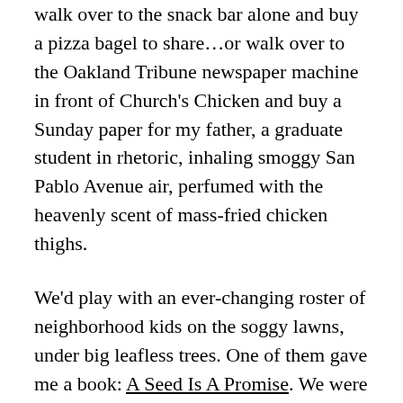walk over to the snack bar alone and buy a pizza bagel to share…or walk over to the Oakland Tribune newspaper machine in front of Church's Chicken and buy a Sunday paper for my father, a graduate student in rhetoric, inhaling smoggy San Pablo Avenue air, perfumed with the heavenly scent of mass-fried chicken thighs.
We'd play with an ever-changing roster of neighborhood kids on the soggy lawns, under big leafless trees. One of them gave me a book: A Seed Is A Promise. We were all the children of dirt-poor graduate students; no doubt, all of us went on to get graduate degrees of our own.
It couldn't possibly last. So it didn't.
Sometime in my early teens, I discovered another home, just as idyllic: 221B Baker Street. I lived there, too, I promise you. I could still draw you a map. The VR pockmarks on the wall, the correspondence affixed to